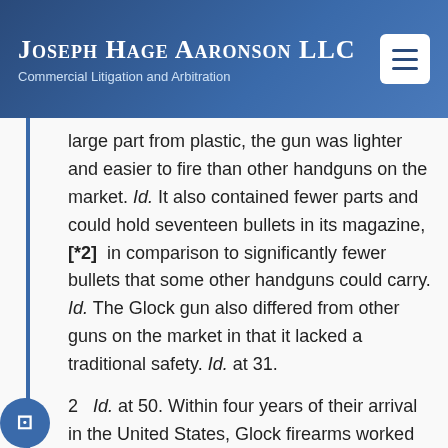Joseph Hage Aaronson LLC — Commercial Litigation and Arbitration
large part from plastic, the gun was lighter and easier to fire than other handguns on the market. Id. It also contained fewer parts and could hold seventeen bullets in its magazine, [*2] in comparison to significantly fewer bullets that some other handguns could carry. Id. The Glock gun also differed from other guns on the market in that it lacked a traditional safety. Id. at 31.
2   Id. at 50. Within four years of their arrival in the United States, Glock firearms worked their way into American pop culture in Die Hard 2,